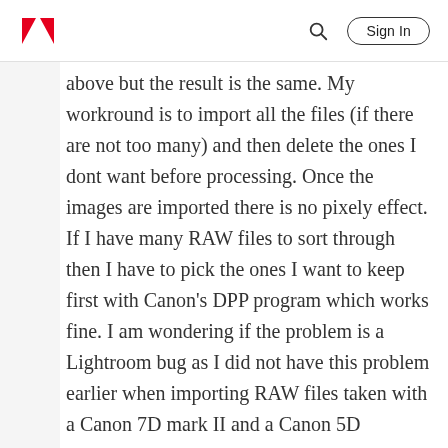Adobe | Sign In
above but the result is the same. My workround is to import all the files (if there are not too many) and then delete the ones I dont want before processing. Once the images are imported there is no pixely effect. If I have many RAW files to sort through then I have to pick the ones I want to keep first with Canon's DPP program which works fine. I am wondering if the problem is a Lightroom bug as I did not have this problem earlier when importing RAW files taken with a Canon 7D mark II and a Canon 5D